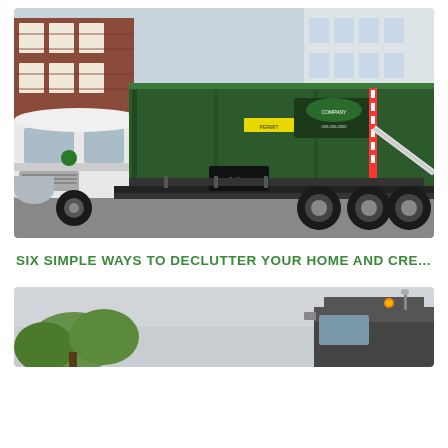[Figure (photo): A large white semi-truck cab with a dark green roll-off dumpster container being transported on a flatbed trailer, parked in a residential area with brick apartment buildings in the background. The dumpster has a company logo and phone number on it.]
SIX SIMPLE WAYS TO DECLUTTER YOUR HOME AND CRE...
[Figure (photo): Partial view of another truck, showing the top/cab portion with trees and overcast sky in the background.]